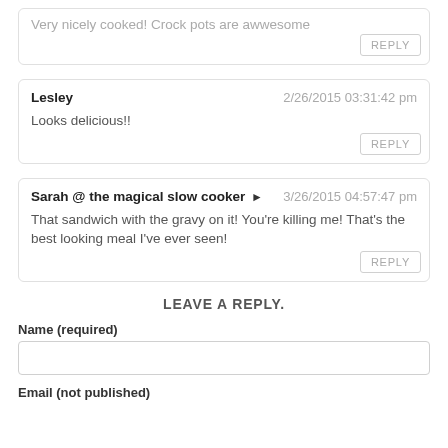Very nicely cooked! Crock pots are awwesome
REPLY
Lesley   2/26/2015 03:31:42 pm
Looks delicious!!
REPLY
Sarah @ the magical slow cooker → 3/26/2015 04:57:47 pm
That sandwich with the gravy on it! You're killing me! That's the best looking meal I've ever seen!
REPLY
LEAVE A REPLY.
Name (required)
Email (not published)